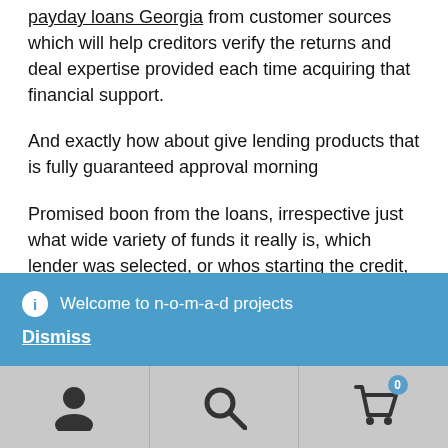payday loans Georgia from customer sources which will help creditors verify the returns and deal expertise provided each time acquiring that financial support.
And exactly how about give lending products that is fully guaranteed approval morning
Promised boon from the loans, irrespective just what wide variety of funds it really is, which lender was selected, or whos starting the credit, is just an affirmation that lots of loan providers say that is definitely cannot.
Welcome to n-o-m-a-d projects
Dismiss